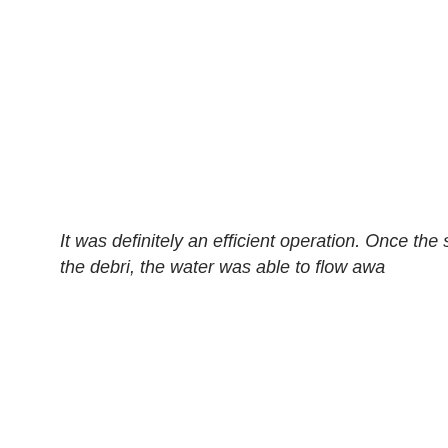It was definitely an efficient operation. Once the street a the debri, the water was able to flow awa